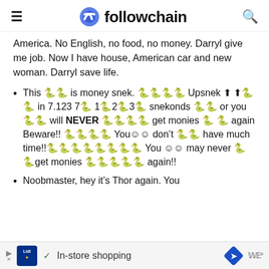followchain
America. No English, no food, no money. Darryl give me job. Now I have house, American car and new woman. Darryl save life.
This 🐍 is money snek. 🐍🐍🐍🐍 Upsnek ⬆ ⬆ 🐍🐍 in 7.123 7🐍 1🐍2🐍3🐍 snekonds 🐍🐍 or you 🐍🐍 will NEVER 🐍🐍🐍🐍 get monies 🐍 🐍 again Beware!! 🐍🐍🐍🐍 You☺☺ don't 🐍🐍 have much time!!🐍🐍🐍🐍🐍🐍🐍🐍 You ☺☺ may never 🐍🐍get monies 🐍🐍🐍🐍🐍 again!!
Noobmaster, hey it's Thor again. You
In-store shopping